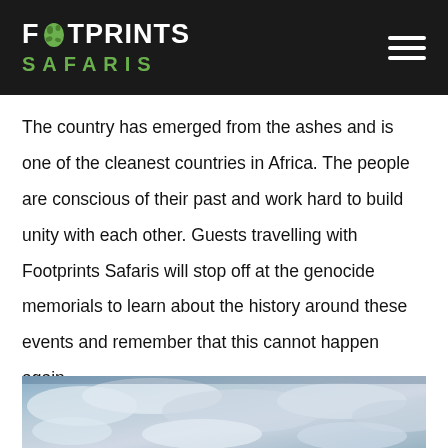FOOTPRINTS SAFARIS
The country has emerged from the ashes and is one of the cleanest countries in Africa. The people are conscious of their past and work hard to build unity with each other. Guests travelling with Footprints Safaris will stop off at the genocide memorials to learn about the history around these events and remember that this cannot happen again.
[Figure (photo): Cloudy blue sky photograph at the bottom of the page]